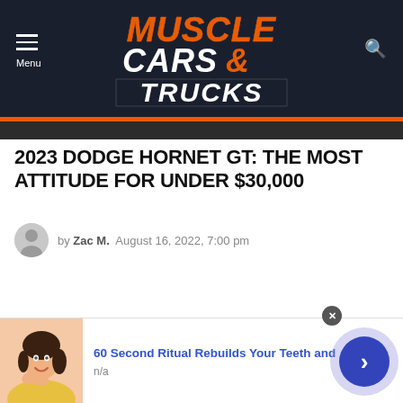Muscle Cars & Trucks — Menu / Search navigation header
2023 DODGE HORNET GT: THE MOST ATTITUDE FOR UNDER $30,000
by Zac M.  August 16, 2022, 7:00 pm
[Figure (illustration): Advertisement banner: woman smiling with hand on chin, with text '60 Second Ritual Rebuilds Your Teeth and' n/a, and a circular arrow button]
60 Second Ritual Rebuilds Your Teeth and
n/a